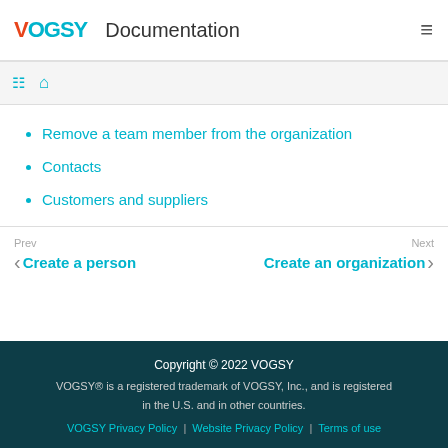VOGSY Documentation
Remove a team member from the organization
Contacts
Customers and suppliers
Prev | Create a person    Next | Create an organization
Copyright © 2022 VOGSY
VOGSY® is a registered trademark of VOGSY, Inc., and is registered in the U.S. and in other countries.
VOGSY Privacy Policy | Website Privacy Policy | Terms of use